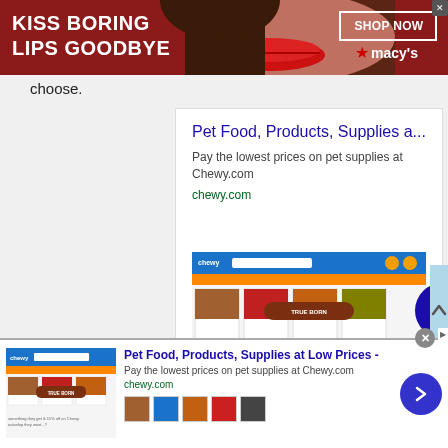[Figure (screenshot): Macy's banner advertisement: 'KISS BORING LIPS GOODBYE' with woman's face and red lips, 'SHOP NOW' button, Macy's logo with star]
choose.
[Figure (screenshot): Google search result card for Chewy.com: 'Pet Food, Products, Supplies a...' with description 'Pay the lowest prices on pet supplies at Chewy.com', URL chewy.com, and screenshot of Chewy website showing pet food products]
[Figure (screenshot): Bottom ad bar for Chewy.com: 'Pet Food, Products, Supplies at Low Prices -', 'Pay the lowest prices on pet supplies at Chewy.com', chewy.com URL, product thumbnails, and blue arrow button]